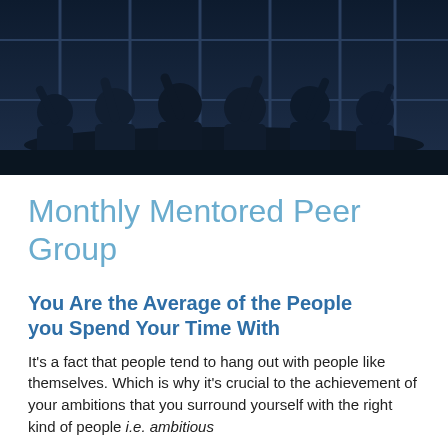[Figure (photo): Dark silhouette photo of a group of people sitting around a conference table, viewed from below with arms raised, dark navy blue tones]
Monthly Mentored Peer Group
You Are the Average of the People you Spend Your Time With
It's a fact that people tend to hang out with people like themselves. Which is why it's crucial to the achievement of your ambitions that you surround yourself with the right kind of people i.e. ambitious